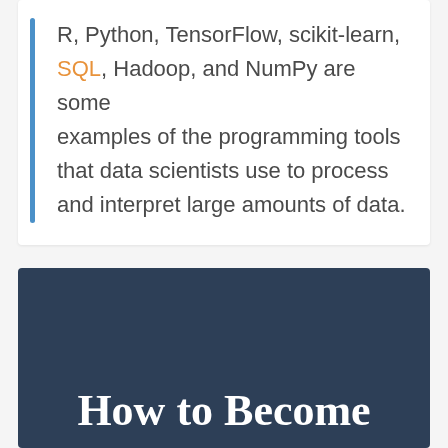R, Python, TensorFlow, scikit-learn, SQL, Hadoop, and NumPy are some examples of the programming tools that data scientists use to process and interpret large amounts of data.
[Figure (other): Dark navy blue card/banner with text 'How to Become' visible at the bottom, appearing to be a partial view of a section header image]